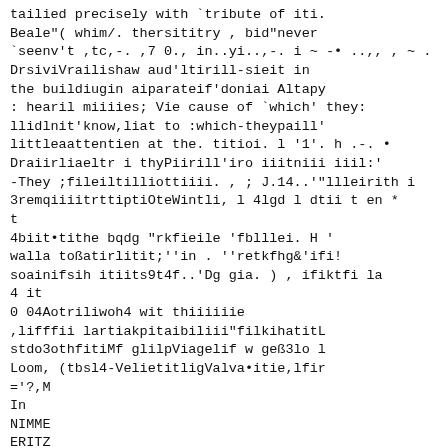tailied precisely with `tribute of iti. Beale"( whim/. thersititry , bid"never `seenv't ,tc,-. ,7 0., in..yi..,-. i ~ -• ..,, , ~ . DrsiviVrailishaw aud'ltirill-sieit in the buildiugin aiparateif'doniai Altapy : hearil miiiies; Vie cause of `which' they: llidlnit'know,liat to :which-theypaill' littleaattentien at the. titioi. l '1'. h .-. • Draiirliaeltr i thyPiirill'iro iiitniii iiil:' -They ;fileiltilliottiiii. , ; J.14..'''llleirith i 3remqiiiitrttiptiOteWintli, l 4lgd l dtii t en * t 4biit•tithe bqdg "rkfieile 'fblllei. H ' walla toßatirlitit;''in . ''retkfhg&'ifi! soainifsih itiits9t4f..'Dg gia. ) , ifiktfi la 4 it 0 04Aotriliwoh4 wit thiiiiiie ,lifffii lartiakpitaibiliii"filkihatitL stdo3othfitiMf glilpViagelif w geß3lo l Loom, (tbsl4-VelietitligValva•itie,lfir ='?,M In NIMME ERITZ BEM